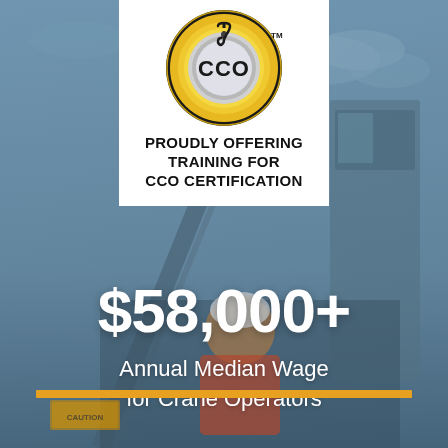[Figure (logo): CCO (Crane Certification Organization) logo - circular gold and black emblem with hook symbol and 'CCO' text, with 'TM' mark]
PROUDLY OFFERING TRAINING FOR CCO CERTIFICATION
$58,000+
Annual Median Wage for Crane Operators